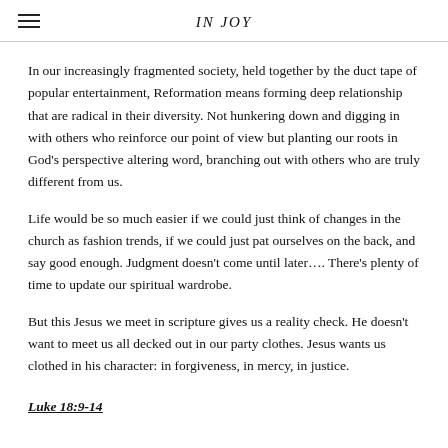IN JOY
In our increasingly fragmented society, held together by the duct tape of popular entertainment, Reformation means forming deep relationship that are radical in their diversity. Not hunkering down and digging in with others who reinforce our point of view but planting our roots in God's perspective altering word, branching out with others who are truly different from us.
Life would be so much easier if we could just think of changes in the church as fashion trends, if we could just pat ourselves on the back, and say good enough. Judgment doesn't come until later…. There's plenty of time to update our spiritual wardrobe.
But this Jesus we meet in scripture gives us a reality check. He doesn't want to meet us all decked out in our party clothes. Jesus wants us clothed in his character: in forgiveness, in mercy, in justice.
Luke 18:9-14